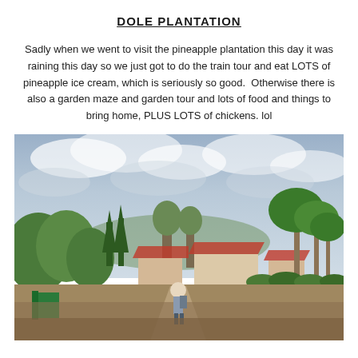DOLE PLANTATION
Sadly when we went to visit the pineapple plantation this day it was raining this day so we just got to do the train tour and eat LOTS of pineapple ice cream, which is seriously so good.  Otherwise there is also a garden maze and garden tour and lots of food and things to bring home, PLUS LOTS of chickens. lol
[Figure (photo): A person with a backpack walking along a path at Dole Plantation, surrounded by lush tropical trees and palm trees, with red-roofed buildings in the background and an overcast sky.]